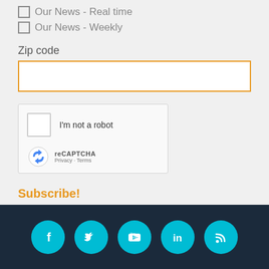Our News - Real time
Our News - Weekly
Zip code
[Figure (screenshot): reCAPTCHA widget with checkbox and 'I'm not a robot' text, logo, Privacy and Terms links]
Subscribe!
[Figure (infographic): Social media icons: Facebook, Twitter, YouTube, LinkedIn, RSS — teal circles on dark navy footer]